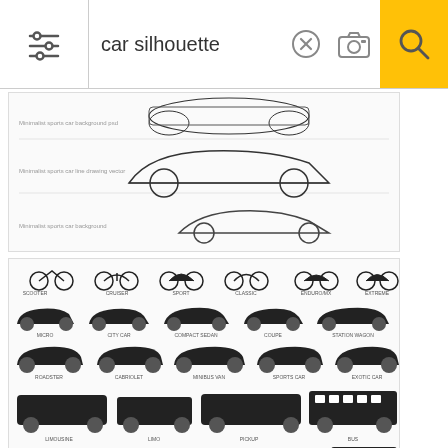[Figure (screenshot): Search bar with filter icon, text input showing 'car silhouette', X clear button, camera icon button, and yellow search button with magnifying glass icon]
[Figure (illustration): Grid of car silhouette line drawings - sports cars and racing cars shown as outlines on white background, three rows]
[Figure (illustration): Large grid of vehicle silhouettes in dark/black showing many types: motorcycles, sedans, SUVs, trucks, buses, trams, labeled with vehicle type names]
[Figure (logo): Car company logo with black SUV silhouette above text 'COMPANY' in bold and 'AWESOME TAGLINES' in smaller text below]
[Figure (illustration): Two car outline silhouettes at bottom of page, sedan style vehicles shown in gray outline]